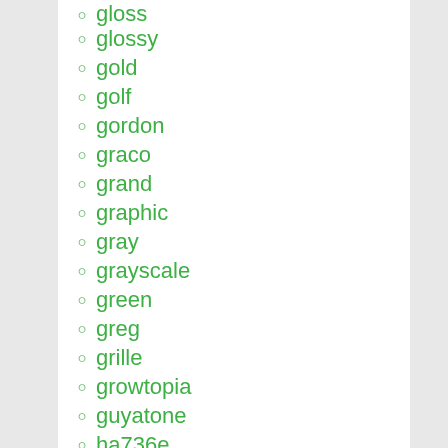gloss
glossy
gold
golf
gordon
graco
grand
graphic
gray
grayscale
green
greg
grille
growtopia
guyatone
ha736e
haas
halogen
head